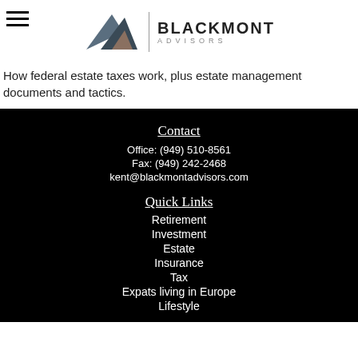[Figure (logo): Blackmont Advisors logo with mountain/triangle graphic and text 'BLACKMONT ADVISORS']
How federal estate taxes work, plus estate management documents and tactics.
Contact
Office: (949) 510-8561
Fax: (949) 242-2468
kent@blackmontadvisors.com
Quick Links
Retirement
Investment
Estate
Insurance
Tax
Expats living in Europe
Lifestyle